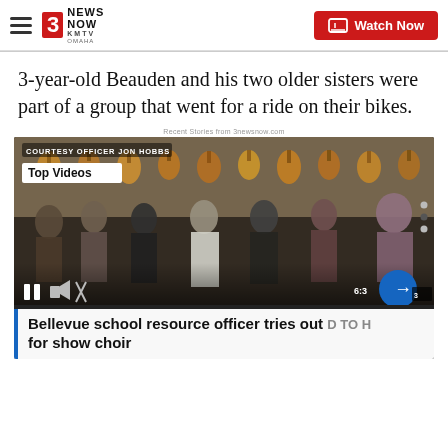3 NEWS NOW KMTV OMAHA | Watch Now
3-year-old Beauden and his two older sisters were part of a group that went for a ride on their bikes.
Recent Stories from 3newsnow.com
[Figure (screenshot): Video player showing people dancing in a room with guitars on the wall. Overlay text reads 'COURTESY OFFICER JON HOBBS' and 'Top Videos'. Video controls show pause and mute icons. A blue circle with right arrow appears at bottom right.]
Bellevue school resource officer tries out for show choir